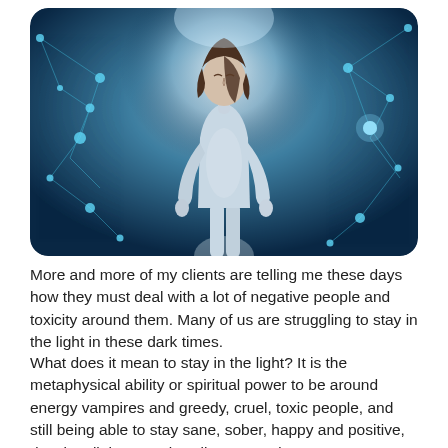[Figure (photo): A woman in a light blue bodysuit standing with eyes closed and arms slightly away from her body, surrounded by a glowing blue network of connected nodes, suggesting spiritual energy or metaphysical connection.]
More and more of my clients are telling me these days how they must deal with a lot of negative people and toxicity around them. Many of us are struggling to stay in the light in these dark times.
What does it mean to stay in the light? It is the metaphysical ability or spiritual power to be around energy vampires and greedy, cruel, toxic people, and still being able to stay sane, sober, happy and positive, despite all the negative vibes around you.